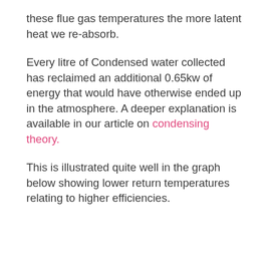these flue gas temperatures the more latent heat we re-absorb.
Every litre of Condensed water collected has reclaimed an additional 0.65kw of energy that would have otherwise ended up in the atmosphere. A deeper explanation is available in our article on condensing theory.
This is illustrated quite well in the graph below showing lower return temperatures relating to higher efficiencies.